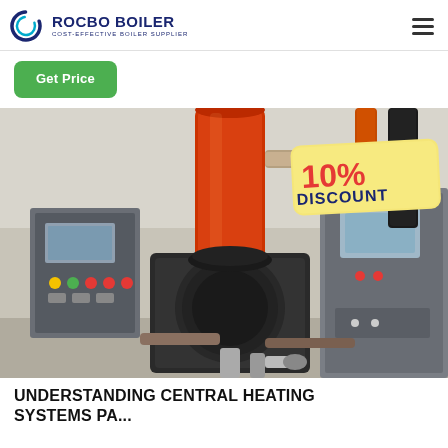ROCBO BOILER — COST-EFFECTIVE BOILER SUPPLIER
Get Price
[Figure (photo): Industrial boiler equipment with large red cylindrical component, black machinery, control panels with colorful buttons on left, and a '10% DISCOUNT' badge overlay in upper right corner.]
UNDERSTANDING CENTRAL HEATING SYSTEMS Pa... 10